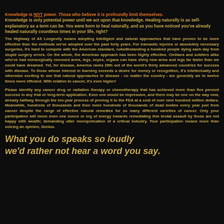Knowledge is NOT power. Those who believe it is profoundly limit themselves.
Knowledge is only potential power until we act upon that knowledge. Healing naturally is as self-explanatory as a term can be. You were born to heal naturally, and as you have noticed you've already healed naturally countless times in your life, right?
The Highway of All Longevity means adopting intelligent and natural approaches that have proven to be more effective than the methods we've adopted over the past forty years. For tramautic injuries or absolutely necessary surgeries, it's hard to compete with the American standard, notwithstanding a hundred people dying each day from stupid surgery errors. On the whole, the American approach has been highly effective. Civilians and soldiers alike who've had nonsurgically removed arms, legs, eeyes, organs can have shiny new arms and legs far faster than we could have dreamed. Yet, for disease, America ranks 29th out of the world's thirty advanced countries for success with disease. To those whose interest in learning exceeds a desire for money or recognition, it's intellectually and otherwise exciting to see that natural approaches to disease - no matter the country - are generally six to twelve times more efficient. With relation to cancer, it's even higher!
Please identify any cancer drug or radiation therapy or chemotherapy that has achieved more than five percent success in any trial or long-term application. Even one would be impressive, and there may be one on the way now, already halfway through the ten-year process of proving it to the FDA at a cost of over nine hundred million dollars. Meanwhile, hundreds of thousands and then more hundreds of thousands of dead bodies every year just from cancer despite the range of effective natural remedies for so many different varieties of cancer. Only your participation will move even one ounce or erg of energy towards remediating this brutal assault by those are not happy with wealth; demanding utter monopolication of a critical industry. Your participation means more than voicing an opinion, Genius.
What you do speaks so loudly we'd rather not hear a word you say.